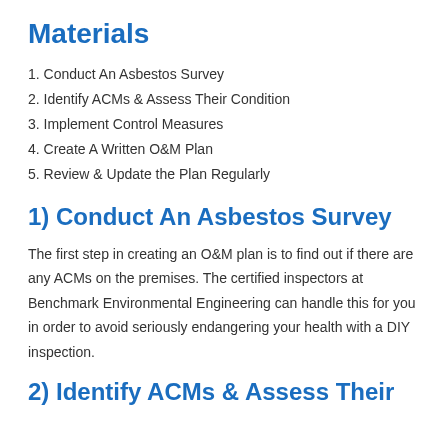Materials
1. Conduct An Asbestos Survey
2. Identify ACMs & Assess Their Condition
3. Implement Control Measures
4. Create A Written O&M Plan
5. Review & Update the Plan Regularly
1) Conduct An Asbestos Survey
The first step in creating an O&M plan is to find out if there are any ACMs on the premises. The certified inspectors at Benchmark Environmental Engineering can handle this for you in order to avoid seriously endangering your health with a DIY inspection.
2) Identify ACMs & Assess Their...